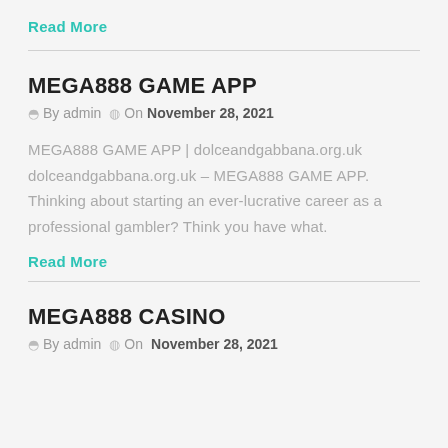Read More
MEGA888 GAME APP
By admin  On November 28, 2021
MEGA888 GAME APP | dolceandgabbana.org.uk dolceandgabbana.org.uk – MEGA888 GAME APP. Thinking about starting an ever-lucrative career as a professional gambler? Think you have what.
Read More
MEGA888 CASINO
By admin  On November 28, 2021